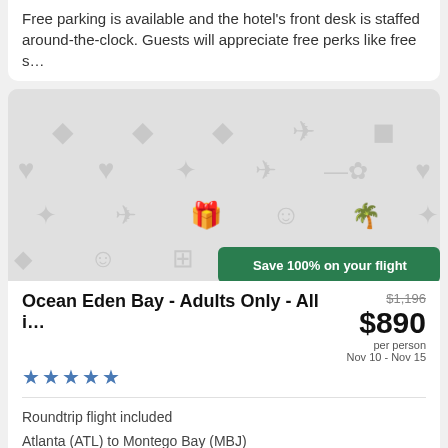Free parking is available and the hotel's front desk is staffed around-the-clock. Guests will appreciate free perks like free s…
[Figure (illustration): Gray placeholder image with travel/hotel amenity icons (stars, hearts, planes, smiley faces, luggage, etc.) in a repeated pattern on light gray background. A green badge reads 'Save 100% on your flight' in the bottom right.]
Ocean Eden Bay - Adults Only - All i…
$1,196
$890
per person
Nov 10 - Nov 15
★★★★★
Roundtrip flight included
Atlanta (ATL) to Montego Bay (MBJ)
This all-inclusive property features a private beach, a full-service spa, and a nightclub. Enjoy beachfront dining and relax with s…